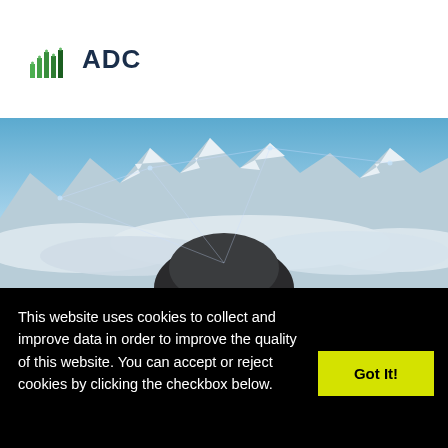[Figure (logo): ADC company logo with green bar chart icon and dark blue ADC text]
[Figure (photo): Aerial photo of snow-capped mountain peaks above clouds with network lines overlay]
This website uses cookies to collect and improve data in order to improve the quality of this website. You can accept or reject cookies by clicking the checkbox below.